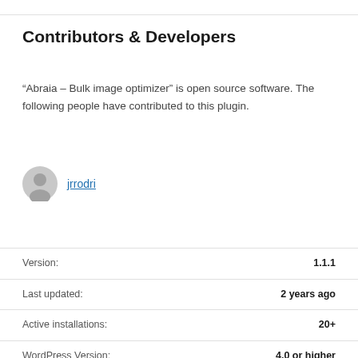Contributors & Developers
“Abraia – Bulk image optimizer” is open source software. The following people have contributed to this plugin.
jrrodri
| Property | Value |
| --- | --- |
| Version: | 1.1.1 |
| Last updated: | 2 years ago |
| Active installations: | 20+ |
| WordPress Version: | 4.0 or higher |
| Tested up to: | 5.4.10 |